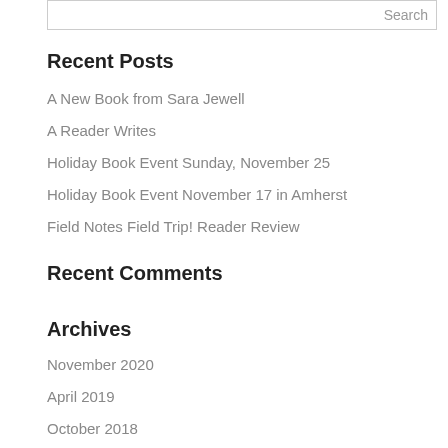Recent Posts
A New Book from Sara Jewell
A Reader Writes
Holiday Book Event Sunday, November 25
Holiday Book Event November 17 in Amherst
Field Notes Field Trip! Reader Review
Recent Comments
Archives
November 2020
April 2019
October 2018
May 2018